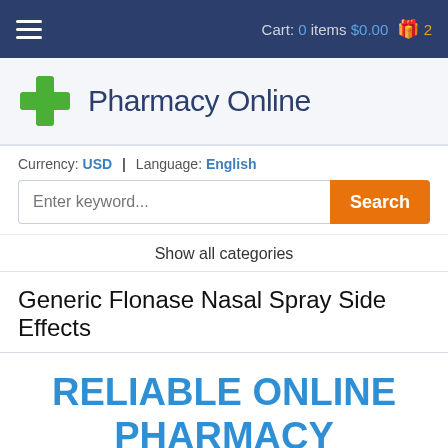Cart: 0 items $0.00 2
[Figure (logo): Green plus/cross pharmacy logo icon with Pharmacy Online text]
Currency: USD | Language: English
Enter keyword... Search
Show all categories
Generic Flonase Nasal Spray Side Effects
RELIABLE ONLINE PHARMACY
> Click here to order now